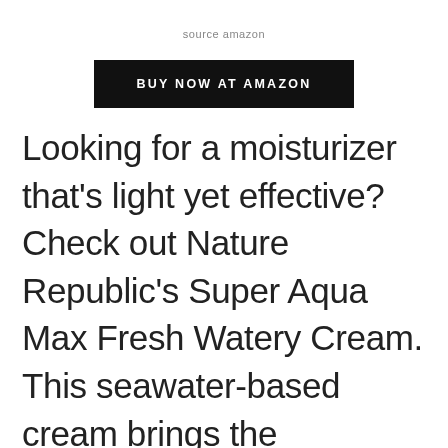source amazon
[Figure (other): Black button with white text reading 'BUY NOW AT AMAZON']
Looking for a moisturizer that's light yet effective? Check out Nature Republic's Super Aqua Max Fresh Watery Cream. This seawater-based cream brings the goodness of Portulaca Oleracea and Licorice extract to regenerate